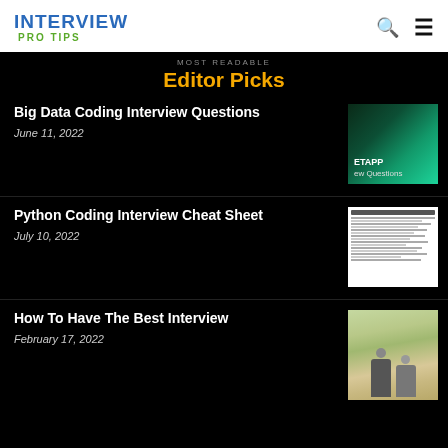INTERVIEW PRO TIPS
MOST READABLE
Editor Picks
Big Data Coding Interview Questions
June 11, 2022
[Figure (screenshot): NETAPP interview questions thumbnail with green gradient background]
Python Coding Interview Cheat Sheet
July 10, 2022
[Figure (screenshot): Python Cheat Sheet document thumbnail with tabular content]
How To Have The Best Interview
February 17, 2022
[Figure (photo): Two people sitting at a table during an interview, indoor setting]